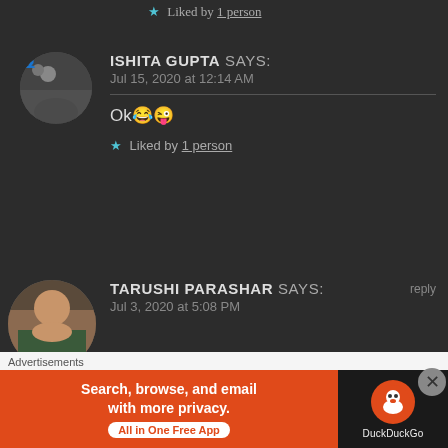★ Liked by 1 person
ISHITA GUPTA says: Jul 15, 2020 at 12:14 AM
Ok😂😜
★ Liked by 1 person
TARUSHI PARASHAR says: Jul 3, 2020 at 5:08 PM
Congratulations...
[Figure (screenshot): DuckDuckGo advertisement banner: Search, browse, and email with more privacy. All in One Free App.]